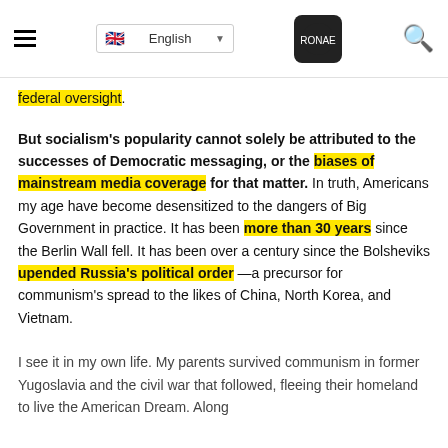English [language selector] | Logo | Search
federal oversight.
But socialism's popularity cannot solely be attributed to the successes of Democratic messaging, or the biases of mainstream media coverage for that matter. In truth, Americans my age have become desensitized to the dangers of Big Government in practice. It has been more than 30 years since the Berlin Wall fell. It has been over a century since the Bolsheviks upended Russia's political order —a precursor for communism's spread to the likes of China, North Korea, and Vietnam.
I see it in my own life. My parents survived communism in former Yugoslavia and the civil war that followed, fleeing their homeland to live the American Dream. Along